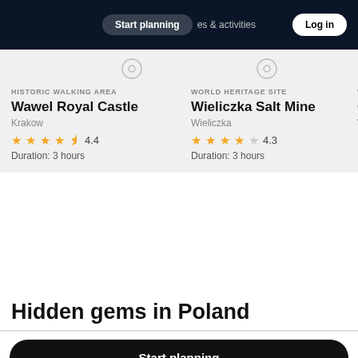Start planning | es & activities | Log in
HISTORIC WALKING AREA
Wawel Royal Castle
Krakow
★★★★½ 4.4
Duration: 3 hours
WORLD HERITAGE SITE
Wieliczka Salt Mine
Wieliczka
★★★★☆ 4.3
Duration: 3 hours
Hidden gems in Poland
Start planning